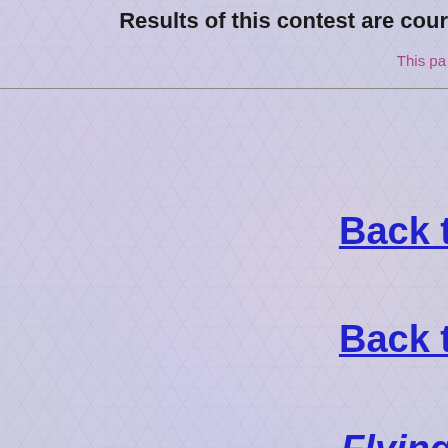Results of this contest are cour
This pa
Back t
Back t
Flying